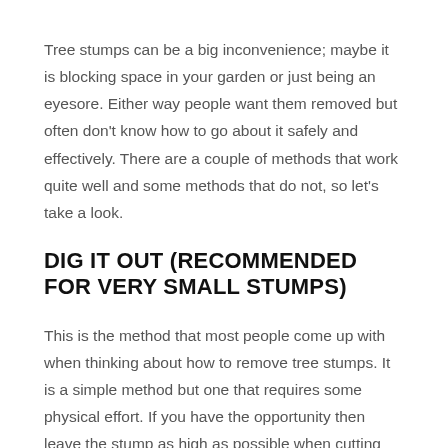Tree stumps can be a big inconvenience; maybe it is blocking space in your garden or just being an eyesore. Either way people want them removed but often don't know how to go about it safely and effectively. There are a couple of methods that work quite well and some methods that do not, so let's take a look.
DIG IT OUT (RECOMMENDED FOR VERY SMALL STUMPS)
This is the method that most people come up with when thinking about how to remove tree stumps. It is a simple method but one that requires some physical effort. If you have the opportunity then leave the stump as high as possible when cutting the tree down, this can be used as a lever to snap any roots that you